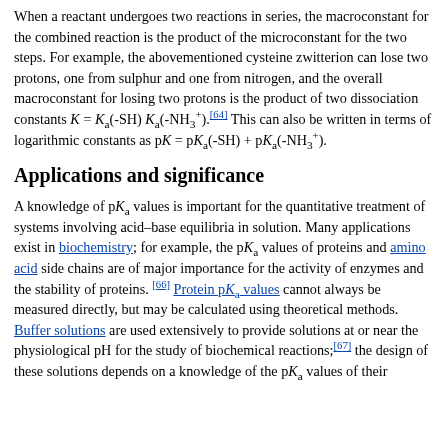When a reactant undergoes two reactions in series, the macroconstant for the combined reaction is the product of the microconstant for the two steps. For example, the abovementioned cysteine zwitterion can lose two protons, one from sulphur and one from nitrogen, and the overall macroconstant for losing two protons is the product of two dissociation constants K = Ka(-SH) Ka(-NH3+).[64] This can also be written in terms of logarithmic constants as pK = pKa(-SH) + pKa(-NH3+).
Applications and significance
A knowledge of pKa values is important for the quantitative treatment of systems involving acid–base equilibria in solution. Many applications exist in biochemistry; for example, the pKa values of proteins and amino acid side chains are of major importance for the activity of enzymes and the stability of proteins. [66] Protein pKa values cannot always be measured directly, but may be calculated using theoretical methods. Buffer solutions are used extensively to provide solutions at or near the physiological pH for the study of biochemical reactions;[67] the design of these solutions depends on a knowledge of the pK values of their